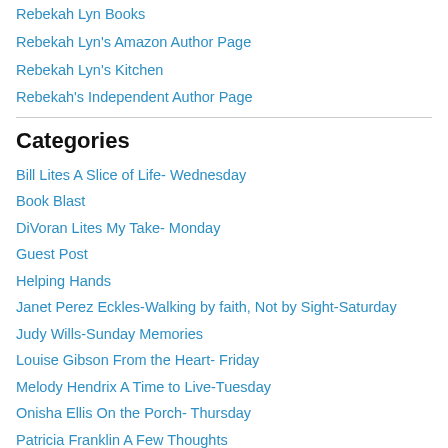Rebekah Lyn Books
Rebekah Lyn's Amazon Author Page
Rebekah Lyn's Kitchen
Rebekah's Independent Author Page
Categories
Bill Lites A Slice of Life- Wednesday
Book Blast
DiVoran Lites My Take- Monday
Guest Post
Helping Hands
Janet Perez Eckles-Walking by faith, Not by Sight-Saturday
Judy Wills-Sunday Memories
Louise Gibson From the Heart- Friday
Melody Hendrix A Time to Live-Tuesday
Onisha Ellis On the Porch- Thursday
Patricia Franklin A Few Thoughts
Storyteller Almanac- Mike Thomas